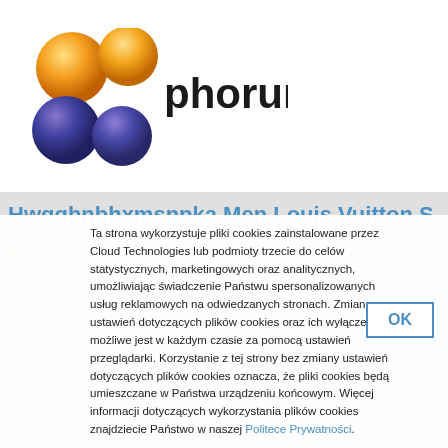[Figure (logo): phorum.pl logo with orange and dark-purple spheres and text 'phorum.pl']
Hwgqhnbhxmsnpka Men Louis Vuitton S
Ta strona wykorzystuje pliki cookies zainstalowane przez Cloud Technologies lub podmioty trzecie do celów statystycznych, marketingowych oraz analitycznych, umożliwiając świadczenie Państwu spersonalizowanych usług reklamowych na odwiedzanych stronach. Zmiana ustawień dotyczących plików cookies oraz ich wyłączenie możliwe jest w każdym czasie za pomocą ustawień przeglądarki. Korzystanie z tej strony bez zmiany ustawień dotyczących plików cookies oznacza, że pliki cookies będą umieszczane w Państwa urządzeniu końcowym. Więcej informacji dotyczących wykorzystania plików cookies znajdziecie Państwo w naszej Politece Prywatności.